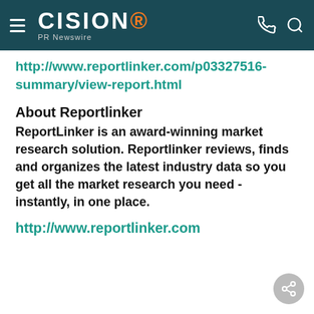CISION PR Newswire
http://www.reportlinker.com/p03327516-summary/view-report.html
About Reportlinker
ReportLinker is an award-winning market research solution. Reportlinker reviews, finds and organizes the latest industry data so you get all the market research you need - instantly, in one place.
http://www.reportlinker.com